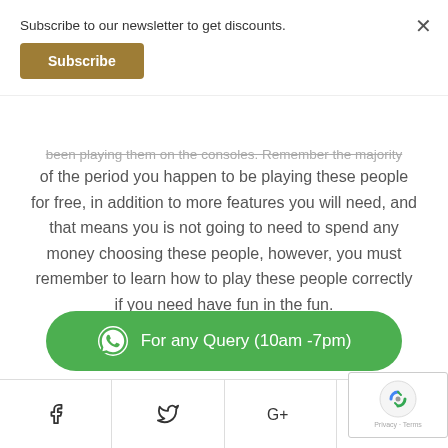Subscribe to our newsletter to get discounts.
Subscribe
been playing them on the consoles. Remember the majority of the period you happen to be playing these people for free, in addition to more features you will need, and that means you is not going to need to spend any money choosing these people, however, you must remember to learn how to play these people correctly if you need have fun in the fun.
[Figure (infographic): Green WhatsApp button with WhatsApp icon and text 'For any Query (10am -7pm)']
[Figure (infographic): Social sharing bar with Facebook, Twitter, Google+, and Pinterest icons]
[Figure (infographic): reCAPTCHA badge with Google logo and Privacy/Terms text]